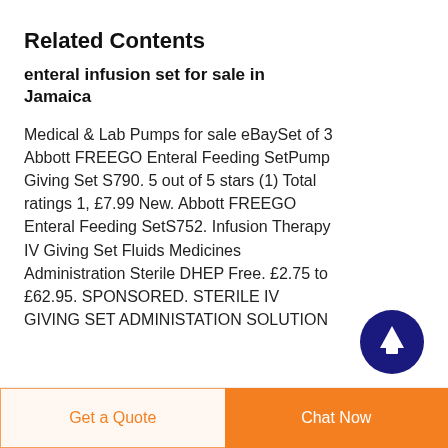Related Contents
enteral infusion set for sale in Jamaica
Medical & Lab Pumps for sale eBaySet of 3 Abbott FREEGO Enteral Feeding SetPump Giving Set S790. 5 out of 5 stars (1) Total ratings 1, £7.99 New. Abbott FREEGO Enteral Feeding SetS752. Infusion Therapy IV Giving Set Fluids Medicines Administration Sterile DHEP Free. £2.75 to £62.95. SPONSORED. STERILE IV GIVING SET ADMINISTATION SOLUTION
[Figure (illustration): Dark blue circular button with white upward arrow icon (scroll to top button)]
Get a Quote   Chat Now